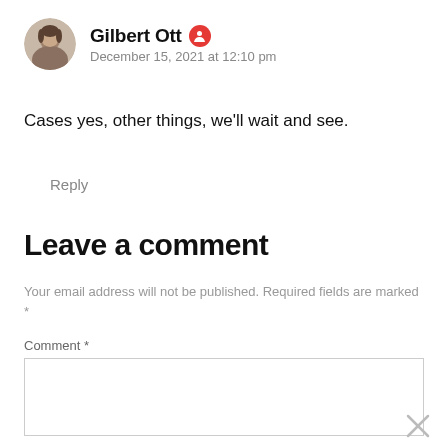[Figure (photo): Circular avatar photo of a man (Gilbert Ott)]
Gilbert Ott 🔴
December 15, 2021 at 12:10 pm
Cases yes, other things, we'll wait and see.
Reply
Leave a comment
Your email address will not be published. Required fields are marked *
Comment *